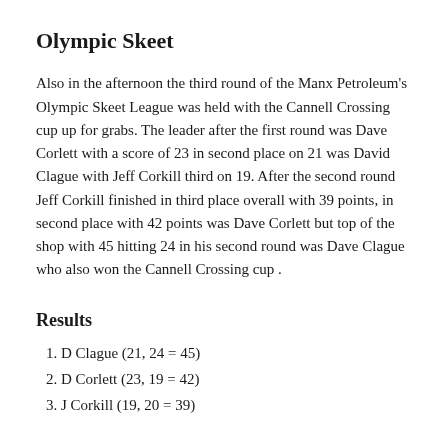Olympic Skeet
Also in the afternoon the third round of the Manx Petroleum's Olympic Skeet League was held with the Cannell Crossing cup up for grabs. The leader after the first round was Dave Corlett with a score of 23 in second place on 21 was David Clague with Jeff Corkill third on 19. After the second round Jeff Corkill finished in third place overall with 39 points, in second place with 42 points was Dave Corlett but top of the shop with 45 hitting 24 in his second round was Dave Clague who also won the Cannell Crossing cup .
Results
1. D Clague (21, 24 = 45)
2. D Corlett (23, 19 = 42)
3. J Corkill (19, 20 = 39)